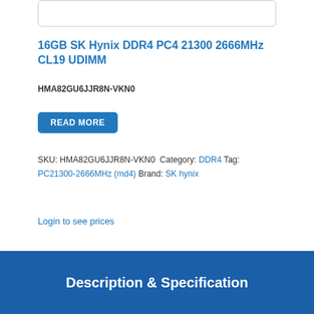[Figure (other): Product image placeholder box (white box with rounded border)]
16GB SK Hynix DDR4 PC4 21300 2666MHz CL19 UDIMM
HMA82GU6JJR8N-VKN0
READ MORE
SKU: HMA82GU6JJR8N-VKN0 Category: DDR4 Tag: PC21300-2666MHz (md4) Brand: SK hynix
Login to see prices
Description & Specification